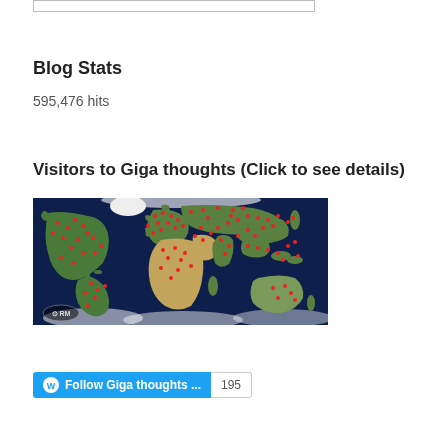Blog Stats
595,476 hits
Visitors to Giga thoughts (Click to see details)
[Figure (map): World map showing visitor locations as red dots across all continents, with a dark navy ocean background, landmasses in green/brown, and an RM watermark logo in the lower left corner.]
Follow Giga thoughts ... 195